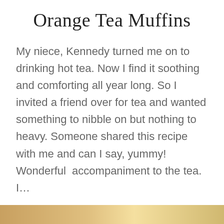Orange Tea Muffins
My niece, Kennedy turned me on to drinking hot tea. Now I find it soothing and comforting all year long. So I invited a friend over for tea and wanted something to nibble on but nothing to heavy. Someone shared this recipe with me and can I say, yummy! Wonderful  accompaniment to the tea. I…
READ MORE